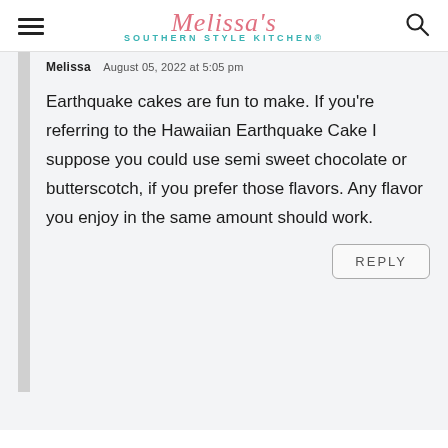Melissa's Southern Style Kitchen®
Melissa  August 05, 2022 at 5:05 pm
Earthquake cakes are fun to make. If you're referring to the Hawaiian Earthquake Cake I suppose you could use semi sweet chocolate or butterscotch, if you prefer those flavors. Any flavor you enjoy in the same amount should work.
REPLY